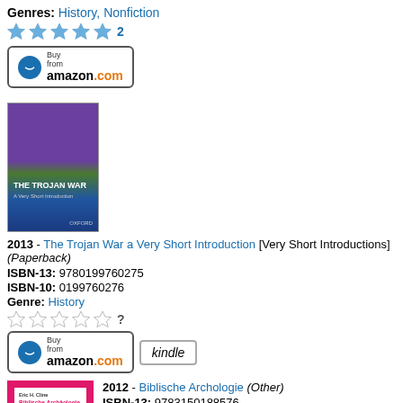Genres: History, Nonfiction
[Figure (other): 5 blue stars rating with count 2]
[Figure (other): Buy from amazon.com button]
[Figure (illustration): Book cover: The Trojan War - A Very Short Introduction, Oxford University Press, purple/green/blue cover]
2013 - The Trojan War a Very Short Introduction [Very Short Introductions] (Paperback)
ISBN-13: 9780199760275
ISBN-10: 0199760276
Genre: History
[Figure (other): 5 empty stars rating with ? mark]
[Figure (other): Buy from amazon.com button and Kindle button]
[Figure (illustration): Book cover: Biblische Archologie, pink/magenta cover with white inner border]
2012 - Biblische Archologie (Other)
ISBN-13: 9783150188576
ISBN-10: 3150188571